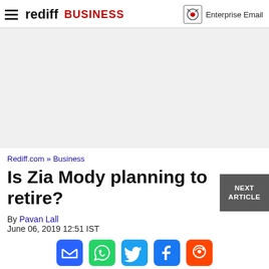rediff BUSINESS | Enterprise Email
[Figure (other): Advertisement / blank area placeholder]
Rediff.com » Business
Is Zia Mody planning to retire?
By Pavan Lall
June 06, 2019 12:51 IST
[Figure (other): Social share icons: Email, WhatsApp, Twitter, Facebook, Reddit]